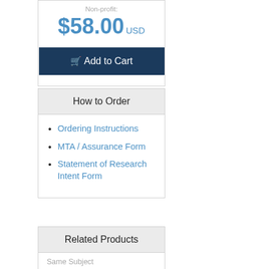Non-profit:
$58.00 USD
Add to Cart
How to Order
Ordering Instructions
MTA / Assurance Form
Statement of Research Intent Form
Related Products
Same Subject
GM20852 - B-